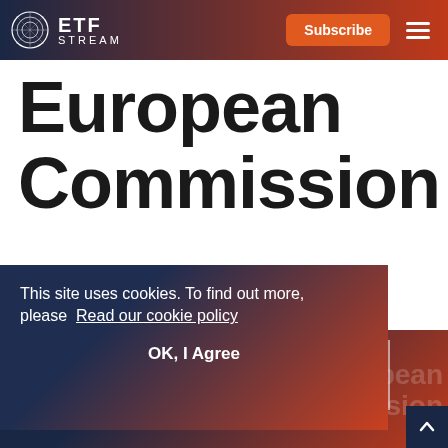ETF STREAM
European Commission
This site uses cookies. To find out more, please Read our cookie policy
OK, I Agree
The Commission's work is steered